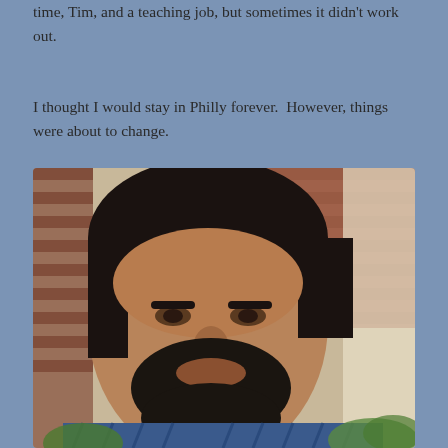time, Tim, and a teaching job, but sometimes it didn't work out.
I thought I would stay in Philly forever.  However, things were about to change.
[Figure (photo): Portrait photo of a middle-aged man with dark hair and a beard, wearing a blue patterned shirt. Background shows a brick wall and some plants.]